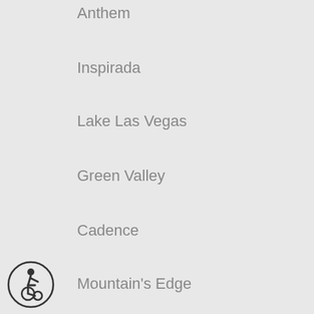Anthem
Inspirada
Lake Las Vegas
Green Valley
Cadence
Mountain's Edge
Southern Highlands
Skye Canyon
Seven Hills
MacDonald Ranch
Aliante
Desert Shores
Providence
Rhodes Ranch
[Figure (illustration): Wheelchair accessibility icon — a person in a wheelchair inside a circle]